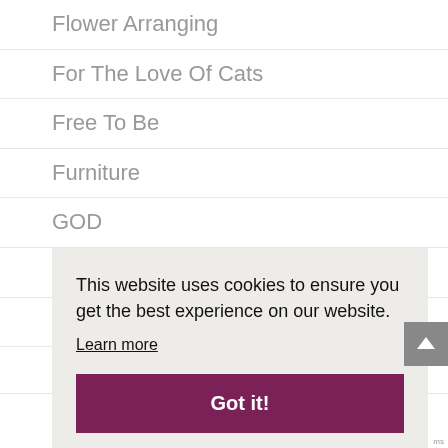Flower Arranging
For The Love Of Cats
Free To Be
Furniture
GOD
Grade School Classes
Gratitude
This website uses cookies to ensure you get the best experience on our website.
Learn more
Got it!